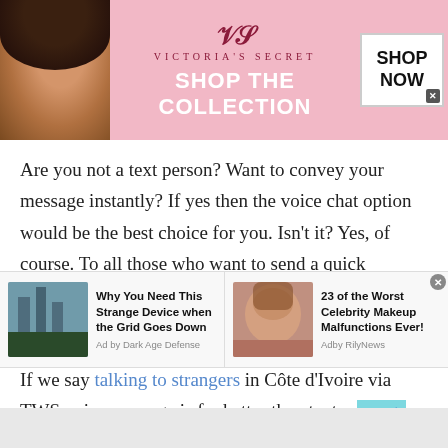[Figure (illustration): Victoria's Secret advertisement banner with model on left, logo and 'SHOP THE COLLECTION' text center, 'SHOP NOW' button on right, pink background]
Are you not a text person? Want to convey your message instantly? If yes then the voice chat option would be the best choice for you. Isn't it? Yes, of course. To all those who want to send a quick message to their online friends or loved ones, voice chat can help you say it all.
If we say talking to strangers in Côte d'Ivoire via TWS voice message is far better than text message then nothing is wrong about that. The growing
[Figure (infographic): Bottom ad strip with two ads: 'Why You Need This Strange Device when the Grid Goes Down' by Dark Age Defense, and '23 of the Worst Celebrity Makeup Malfunctions Ever!' by RilyNews]